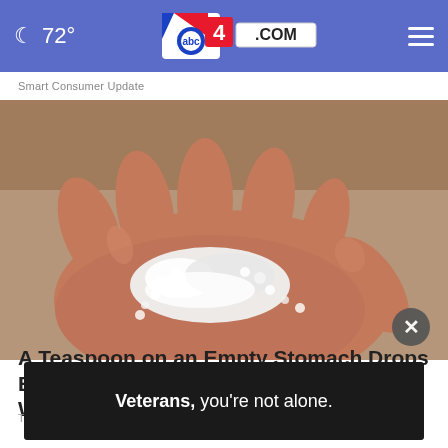72° abc4.com
Smart Consumer Update
[Figure (photo): Close-up photo of a human hand holding a small pile of white granules/crystals (resembling salt or a similar substance) in the palm, with sandy ground visible in the background.]
A Teaspoon on an Empty Stomach Drops Body Wei...
Trending Now: ...
Veterans, you're not alone.